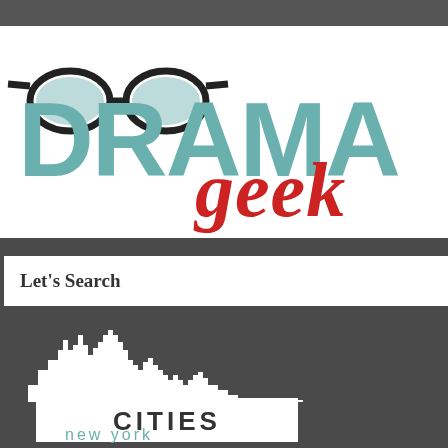[Figure (logo): Drama Geek logo with glasses icon, teal DRAMA text, red cursive geek text, and 'conversation a...' tagline]
Let's Search
[Figure (illustration): White city skyline silhouette with CITIES label below on white background, on dark grey background]
new york
The return of A
[Figure (photo): Dark theatrical photo of bare tree branches]